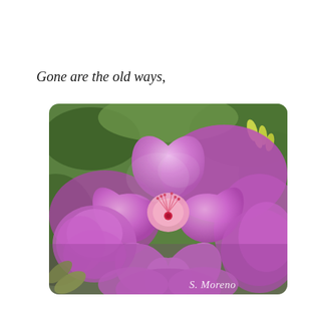Gone are the old ways,
[Figure (photo): Close-up photograph of bright pink/magenta rhododendron flowers in full bloom, with green foliage visible in the background. Photo watermarked with 'S. Moreno' in italic script at bottom right.]